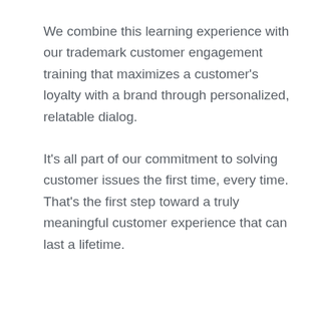We combine this learning experience with our trademark customer engagement training that maximizes a customer's loyalty with a brand through personalized, relatable dialog.
It's all part of our commitment to solving customer issues the first time, every time. That's the first step toward a truly meaningful customer experience that can last a lifetime.